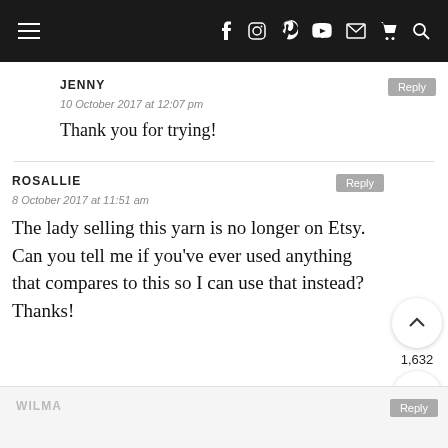Navigation bar with hamburger menu, social icons (Facebook, Instagram, Pinterest, YouTube, Email, Cart, Search)
JENNY
10 October 2017 at 12:07 pm
Thank you for trying!
ROSALLIE
8 October 2017 at 11:51 am
The lady selling this yarn is no longer on Etsy. Can you tell me if you've ever used anything that compares to this so I can use that instead? Thanks!
WILMA